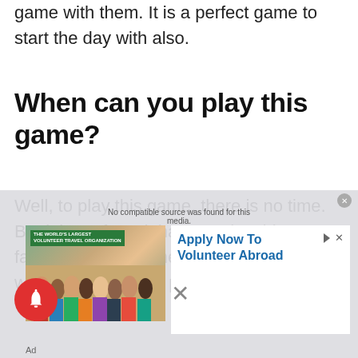game with them. It is a perfect game to start the day with also.
When can you play this game?
Well, to play this game, there is no time. But it is preferred that you play this fantastic game at the start of the morning with your pup. Your pup
[Figure (other): Advertisement overlay showing a volunteer travel organization ad with group photo, 'Apply Now To Volunteer Abroad' text, and a notification bell button in the lower left.]